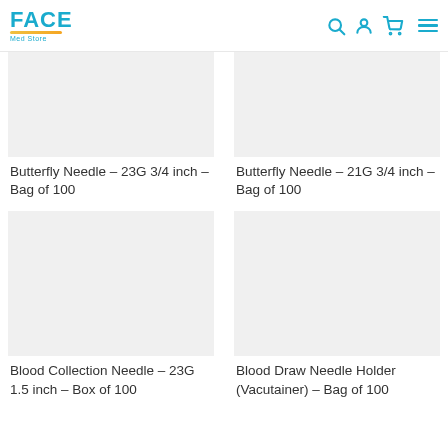FACE Med Store
Butterfly Needle – 23G 3/4 inch – Bag of 100
Butterfly Needle – 21G 3/4 inch – Bag of 100
Blood Collection Needle – 23G 1.5 inch – Box of 100
Blood Draw Needle Holder (Vacutainer) – Bag of 100